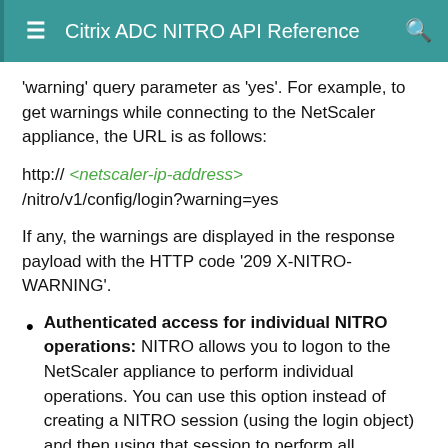Citrix ADC NITRO API Reference
'warning' query parameter as 'yes'. For example, to get warnings while connecting to the NetScaler appliance, the URL is as follows:
http:// <netscaler-ip-address> /nitro/v1/config/login?warning=yes
If any, the warnings are displayed in the response payload with the HTTP code '209 X-NITRO-WARNING'.
Authenticated access for individual NITRO operations: NITRO allows you to logon to the NetScaler appliance to perform individual operations. You can use this option instead of creating a NITRO session (using the login object) and then using that session to perform all